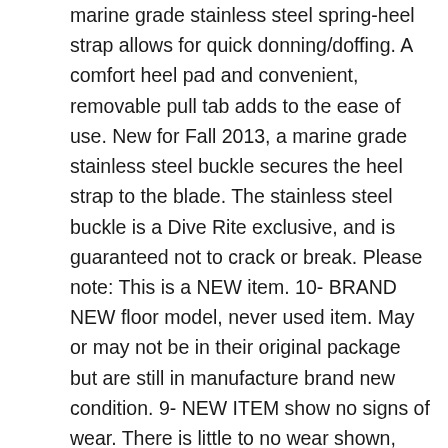marine grade stainless steel spring-heel strap allows for quick donning/doffing. A comfort heel pad and convenient, removable pull tab adds to the ease of use. New for Fall 2013, a marine grade stainless steel buckle secures the heel strap to the blade. The stainless steel buckle is a Dive Rite exclusive, and is guaranteed not to crack or break. Please note: This is a NEW item. 10- BRAND NEW floor model, never used item. May or may not be in their original package but are still in manufacture brand new condition. 9- NEW ITEM show no signs of wear. There is little to no wear shown, and are in great condition. 7- USED Item show minor signs of use and wear, items may have a few scuffs and scratches, however, this will not affect the functionality of the items and they are still in great condition. 6-USED Item show clear sign of wear and tear from use. Items may have stains, scuffs and scratches, irremovable dirt, and discoloration. These items are still fully functional and are in good condition. 5- USED